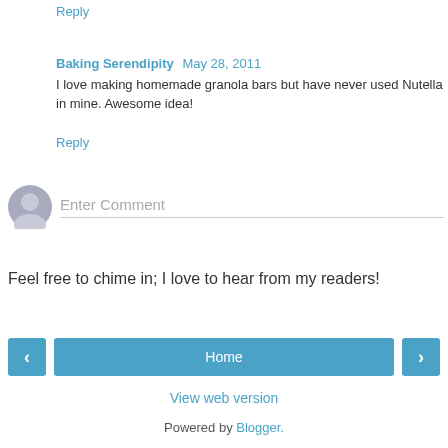Reply
Baking Serendipity May 28, 2011
I love making homemade granola bars but have never used Nutella in mine. Awesome idea!
Reply
[Figure (illustration): User avatar circle with silhouette]
Enter Comment
Feel free to chime in; I love to hear from my readers!
Home
View web version
Powered by Blogger.